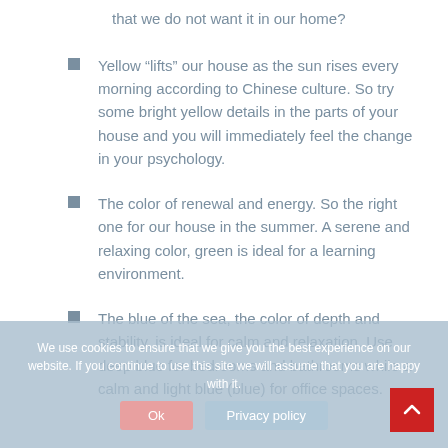that we do not want it in our home?
Yellow “lifts” our house as the sun rises every morning according to Chinese culture. So try some bright yellow details in the parts of your house and you will immediately feel the change in your psychology.
The color of renewal and energy. So the right one for our house in the summer. A serene and relaxing color, green is ideal for a learning environment.
The blue of the sea, the color of depth and stability, is ideal for calm and relaxation. Use deep blue for bedrooms and bathrooms while a calm and light blue (blue) for office spaces.